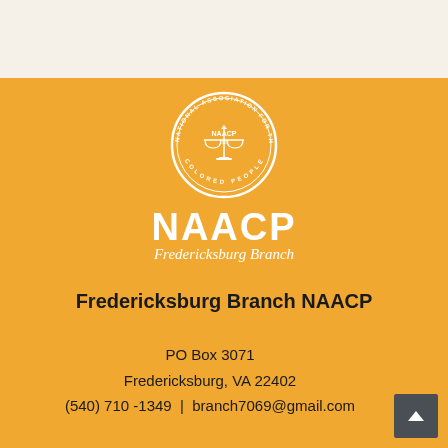[Figure (logo): NAACP circular seal logo in white on orange background, with NAACP text and Fredericksburg Branch italic text below]
Fredericksburg Branch NAACP
PO Box 3071
Fredericksburg, VA 22402
(540) 710 -1349 | branch7069@gmail.com